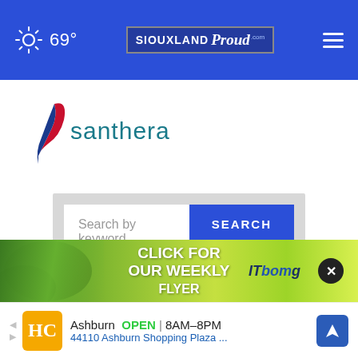69° SIOUXLAND Proud
[Figure (logo): Santhera company logo with red/blue swoosh and teal text]
Search by keyword
[Figure (infographic): Green advertisement banner: CLICK FOR OUR WEEKLY FLYER with ITbomg branding and close button]
[Figure (infographic): Bottom ad banner: HC logo, Ashburn OPEN 8AM-8PM, 44110 Ashburn Shopping Plaza ... with navigation icon]